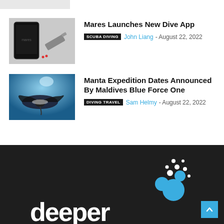[Figure (photo): Partial thumbnail of a smartphone with Mares branding on a light background]
Mares Launches New Dive App
SCUBA DIVING  John Liang - August 22, 2022
[Figure (photo): Underwater photo of a manta ray swimming in blue water with sunlight from above]
Manta Expedition Dates Announced By Maldives Blue Force One
DIVING TRAVEL  Sam Helmy - August 22, 2022
[Figure (logo): Deeper brand logo with white text and blue bubble cluster on dark background]